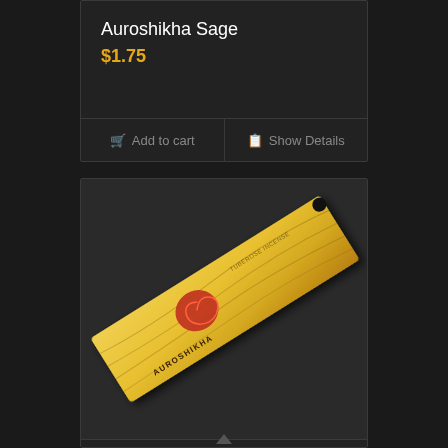Auroshikha Sage
$1.75
Add to cart
Show Details
[Figure (photo): Yellow incense box with Auroshikha Tuberose branding, oriented diagonally]
Auroshikha Tuberose
$1.75